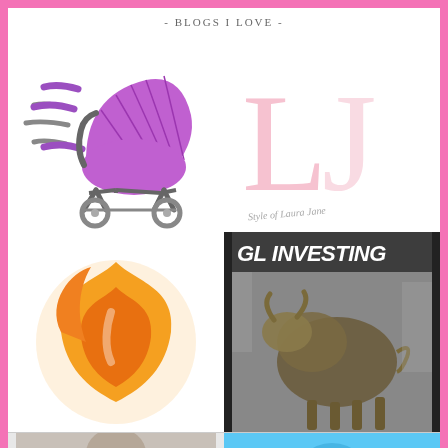- BLOGS I LOVE -
[Figure (logo): Purple baby stroller / pram icon with speed lines, moving fast to the right]
[Figure (logo): LJ monogram logo in pink/light pink large serif letters with cursive text 'Style of Laura Jane' below]
[Figure (logo): Orange flame / fire logo mark, circular swirling flame shape in orange and gold]
[Figure (logo): GL Investing blog logo with bold white/yellow text 'GL INVESTING' over a grayscale photo of the Wall Street Charging Bull statue]
[Figure (photo): Partial bottom-left image, appears cut off, person or scene in gray tones]
[Figure (photo): Partial bottom-right image with blue tones, cut off at bottom]